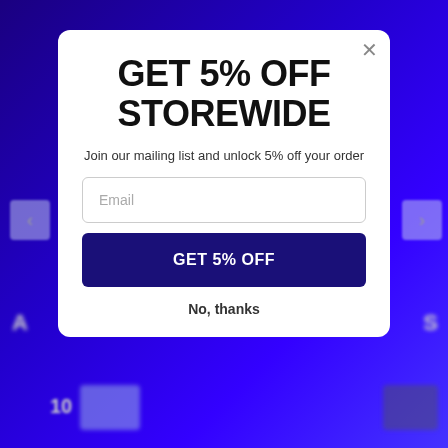GET 5% OFF STOREWIDE
Join our mailing list and unlock 5% off your order
Email
GET 5% OFF
No, thanks